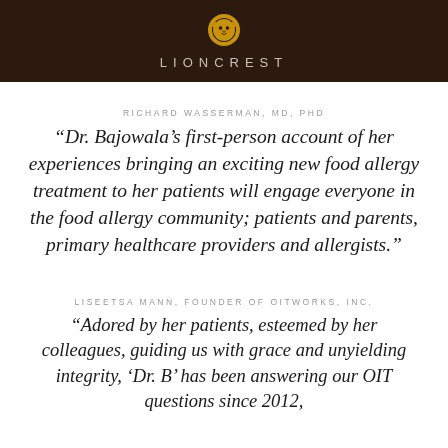[Figure (logo): LionCrest logo: golden lion head icon above stylized 'LIONCREST' text in spaced capitals on dark brown background]
RICHARD WASSERMAN, MD, PHD
“Dr. Bajowala’s first-person account of her experiences bringing an exciting new food allergy treatment to her patients will engage everyone in the food allergy community; patients and parents, primary healthcare providers and allergists.”
LISEETSA MANN, FOUNDER OF OITWORKS, INC.
“Adored by her patients, esteemed by her colleagues, guiding us with grace and unyielding integrity, ‘Dr. B’ has been answering our OIT questions since 2012,